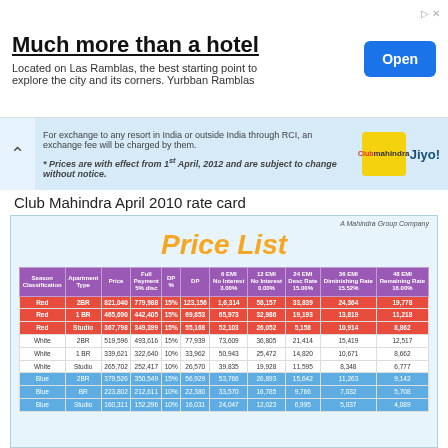[Figure (infographic): Hotel advertisement banner for Yurbban Ramblas with Open button]
[Figure (infographic): Club Mahindra notice bar with exchange fee information and logo]
Club Mahindra April 2010 rate card
[Figure (infographic): Club Mahindra Price List card with purple header]
| Season Classification | Apartment Type | Price | Full Payment 5% disc | DP % | DP | 6 EMI No Interest 3.00% | 12 EMI No Interest 0.00% | 24 EMI Decreasing Rate 15.00% | 36 EMI Diminishing Rate 15.52% | 48 EMI Remaining Rate 16.00% |
| --- | --- | --- | --- | --- | --- | --- | --- | --- | --- | --- |
| Red | 2BR | 821,040 | 779,988 | 15% | 123,156 | 1,6,314 | 58,157 | 33,839 | 24,364 | 19,778 |
| Red | 1 BR | 465,690 | 442,405 | 15% | 69,853 | 65,973 | 32,986 | 19,193 | 13,819 | 11,218 |
| Red | Studio | 367,798 | 349,399 | 15% | 55,168 | 52,103 | 26,052 | 5,158 | 10,914 | 8,862 |
| White | 2BR | 519,596 | 493,616 | 15% | 77,939 | 73,609 | 36,805 | 21,414 | 15,419 | 12,517 |
| White | 1 BR | 339,621 | 322,640 | 10% | 33,962 | 50,943 | 25,472 | 14,820 | 10,671 | 8,662 |
| White | Studio | 265,702 | 252,417 | 10% | 26,570 | 39,835 | 19,928 | 11,595 | 8,348 | 6,777 |
| Blue | 2BR | 379,526 | 350,549 | 15% | 56,929 | 53,766 | 26,893 | 15,642 | 11,263 | 9,142 |
| Blue | BR | 223,802 | 212,611 | 10% | 22,380 | 33,570 | 16,785 | 9,766 | 7,032 | 5,708 |
| Blue | Studio | 160,311 | 152,296 | 10% | 16,031 | 24,047 | 12,023 | 6,995 | 5,037 | 4,089 |